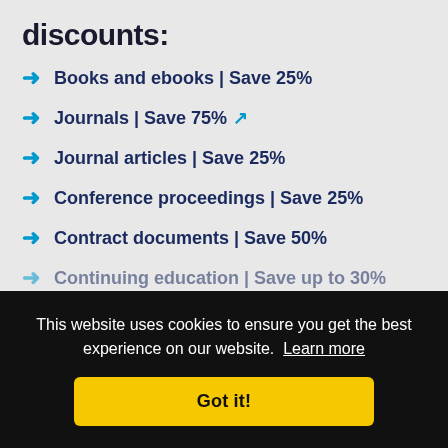discounts:
Books and ebooks | Save 25%
Journals | Save 75% ↗
Journal articles | Save 25%
Conference proceedings | Save 25%
Contract documents | Save 50%
Continuing education | Save up to 30%
This website uses cookies to ensure you get the best experience on our website. Learn more
Got it!